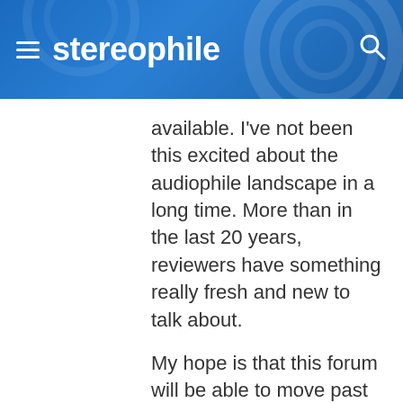stereophile
available. I've not been this excited about the audiophile landscape in a long time. More than in the last 20 years, reviewers have something really fresh and new to talk about.
My hope is that this forum will be able to move past letting trolls here and on to our new world, at all levels. If not you listeners can come on over to TuneLand and share in the fun.